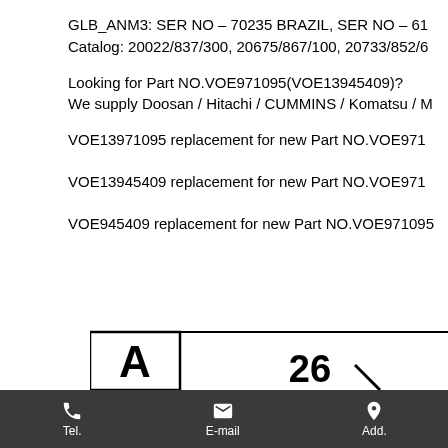GLB_ANM3: SER NO – 70235 BRAZIL, SER NO – 61...
Catalog: 20022/837/300, 20675/867/100, 20733/852/6...
Looking for Part NO.VOE971095(VOE13945409)?
We supply Doosan / Hitachi / CUMMINS / Komatsu / M...
VOE13971095 replacement for new Part NO.VOE971...
VOE13945409 replacement for new Part NO.VOE971...
VOE945409 replacement for new Part NO.VOE971095...
[Figure (engineering-diagram): Partial engineering drawing showing letter 'A' in a box and number '26' with an arrow, indicating a part reference or revision block.]
Tel.   E-mail   Add.